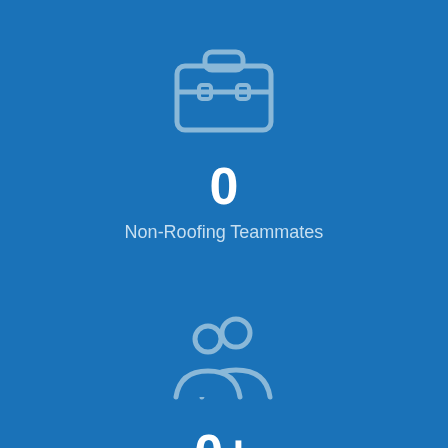[Figure (infographic): Briefcase icon in light blue/white outline style on blue background]
0
Non-Roofing Teammates
[Figure (infographic): People/team icon in light blue/white outline style on blue background]
0+
Roofing Teammates